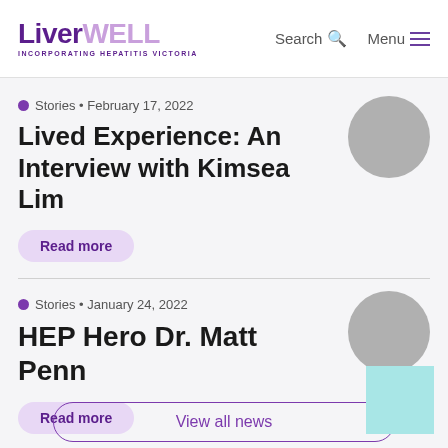LiverWELL Incorporating HEPATITIS VICTORIA — Search — Menu
Stories • February 17, 2022
Lived Experience: An Interview with Kimsea Lim
Read more
[Figure (photo): Circular thumbnail image for Kimsea Lim article]
Stories • January 24, 2022
HEP Hero Dr. Matt Penn
Read more
[Figure (photo): Circular thumbnail image for Dr. Matt Penn article]
View all news